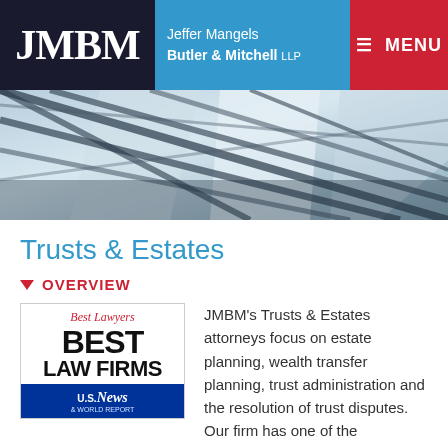JMBM | Jeffer Mangels Butler & Mitchell LLP | MENU
[Figure (photo): Architectural photo of glass ceiling/atrium seen from below, blue-grey tones]
Trusts & Estates
▼ OVERVIEW
[Figure (other): Best Lawyers - Best Law Firms badge with U.S. News & World Report banner]
JMBM's Trusts & Estates attorneys focus on estate planning, wealth transfer planning, trust administration and the resolution of trust disputes. Our firm has one of the